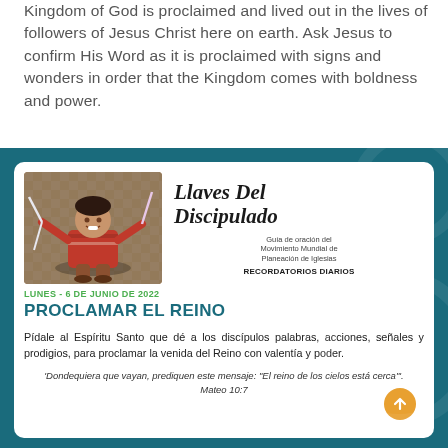Kingdom of God is proclaimed and lived out in the lives of followers of Jesus Christ here on earth. Ask Jesus to confirm His Word as it is proclaimed with signs and wonders in order that the Kingdom comes with boldness and power.
[Figure (infographic): Spanish-language discipleship prayer card titled 'Llaves Del Discipulado' (Keys of Discipleship) from the World Church Planting Movement. Features a photo of a smiling child in traditional red clothing, a teal/dark background with decorative circular patterns, date 'Lunes - 6 de Junio de 2022', heading 'PROCLAMAR EL REINO', body prayer text in Spanish, and a scripture quote from Mateo 10:7.]